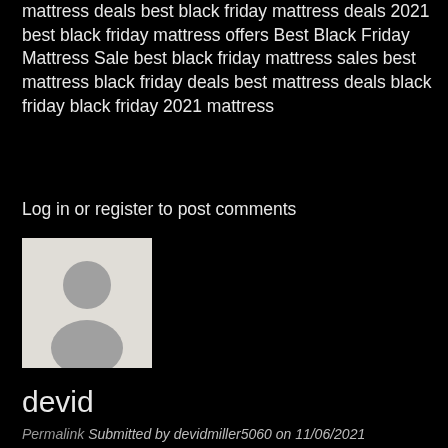mattress deals best black friday mattress deals 2021 best black friday mattress offers Best Black Friday Mattress Sale best black friday mattress sales best mattress black friday deals best mattress deals black friday black friday 2021 mattress
Log in or register to post comments
[Figure (photo): Default user avatar silhouette on light grey background]
devid
Permalink Submitted by devidmiller5060 on 11/06/2021
black friday matress deals
black friday matress sale
black friday matress sales
black friday mattress
black friday mattress deals
black friday mattress deals 2021